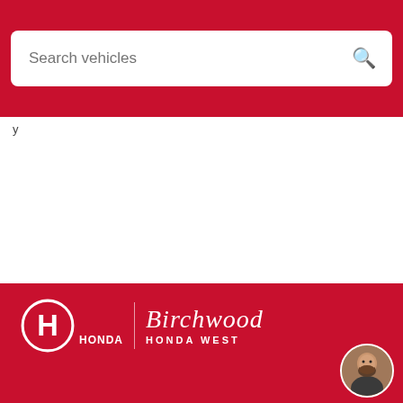[Figure (screenshot): Search bar with placeholder text 'Search vehicles' and a search icon on a red background]
y
[Figure (logo): Honda logo and Birchwood Honda West logo on red background]
75-3965 Portage Ave.
Winnipeg, MB  R3K 2H7

Phone: 2O4-888-2277
Visit us at
[Figure (photo): Circular avatar photo of a man with a beard]